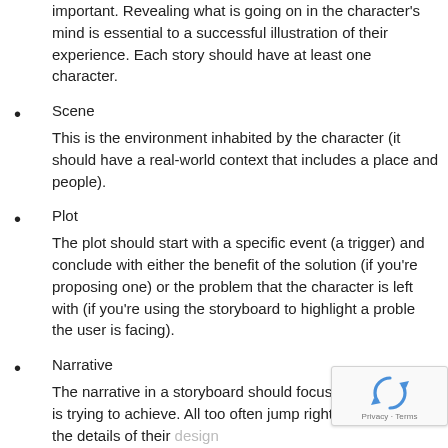important. Revealing what is going on in the character's mind is essential to a successful illustration of their experience. Each story should have at least one character.
Scene
This is the environment inhabited by the character (it should have a real-world context that includes a place and people).
Plot
The plot should start with a specific event (a trigger) and conclude with either the benefit of the solution (if you're proposing one) or the problem that the character is left with (if you're using the storyboard to highlight a problem the user is facing).
Narrative
The narrative in a storyboard should focus on what the character is trying to achieve. All too often jump right into explaining the details of their design.